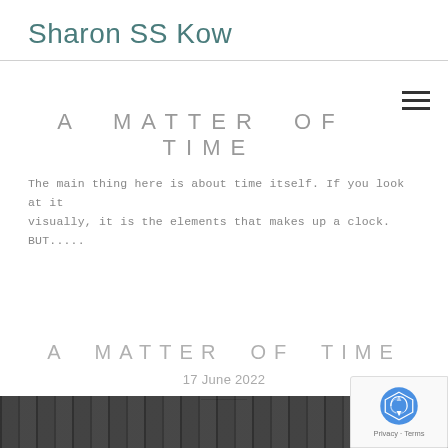Sharon SS Kow
A MATTER OF TIME
The main thing here is about time itself. If you look at it visually, it is the elements that makes up a clock. BUT.....
A MATTER OF TIME
17 June 2022
[Figure (photo): Dark photograph strip at the bottom of the page]
[Figure (other): reCAPTCHA badge with Privacy and Terms links]